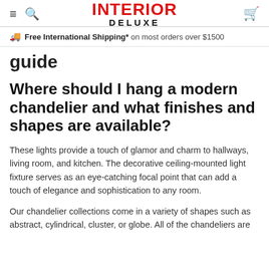INTERIOR DELUXE
Free International Shipping* on most orders over $1500
guide
Where should I hang a modern chandelier and what finishes and shapes are available?
These lights provide a touch of glamor and charm to hallways, living room, and kitchen. The decorative ceiling-mounted light fixture serves as an eye-catching focal point that can add a touch of elegance and sophistication to any room.
Our chandelier collections come in a variety of shapes such as abstract, cylindrical, cluster, or globe. All of the chandeliers are